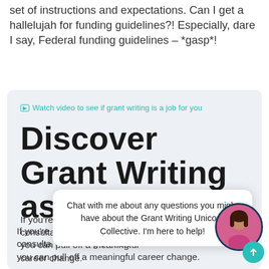set of instructions and expectations. Can I get a hallelujah for funding guidelines?! Especially, dare I say, Federal funding guidelines – *gasp*!
[Figure (screenshot): A light gray card containing a video link 'Watch video to see if grant writing is a job for you', a large bold headline 'Discover Grant Writing as a Ca...' (Career), and partial body text 'If you're... ht writing consulta... g on how you can pull off a meaningful career change.' with an overlaid chat bubble and avatar.]
Chat with me about any questions you might have about the Grant Writing Unicorn Collective. I'm here to help!